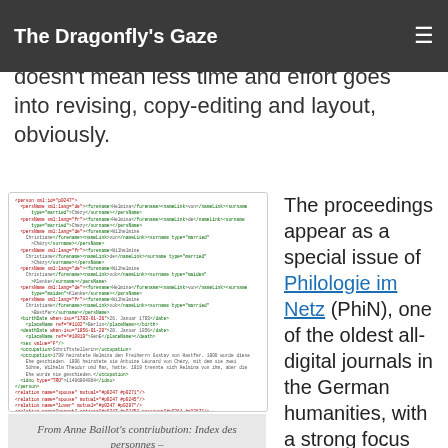The Dragonfly's Gaze
(Patrick and Simon are of course very happy and proud. Just because this style doesn't mean less time and effort goes into revising, copy-editing and layout, obviously.
[Figure (screenshot): Screenshot of XML/TEI encoded text — Index des personnes, entrée Helmina von Chézy]
From Anne Baillot's contriubution: Index des personnes – entrée Helmina von Chézy
The proceedings appear as a special issue of Philologie im Netz (PhiN), one of the oldest all-digital journals in the German humanities, with a strong focus on French an